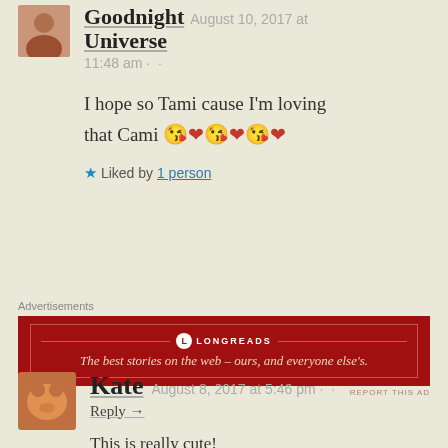[Figure (photo): Small avatar photo of a person, top left, cropped]
Goodnight Universe
August 10, 2017 at 11:48 am
I hope so Tami cause I'm loving that Cami 😘❤️😘❤️😘❤️
Liked by 1 person
Advertisements
[Figure (screenshot): Longreads advertisement banner: dark red background with text 'The best stories on the web – ours, and everyone else's.']
REPORT THIS AD
[Figure (photo): Small avatar photo of a dog (Kate), bottom left]
Kate
August 8, 2017 at 5:46 pm
Reply →
This is really cute!